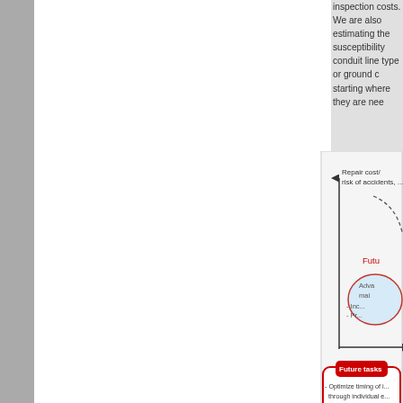inspection costs. We are also estimating the susceptibility conduit line type or ground c... starting where they are nee...
[Figure (flowchart): Diagram showing a graph with axes for Repair cost / risk of accidents vs time, with dashed curve and labeled ellipse 'Advanced maintenance - Inspect... - Pr...' and 'Future' label, plus a red bordered box labeled 'Future tasks' with bullet points about optimizing timing of inspections through individual estimates and adjusting inspections based on estimates of deterioration after disaster.]